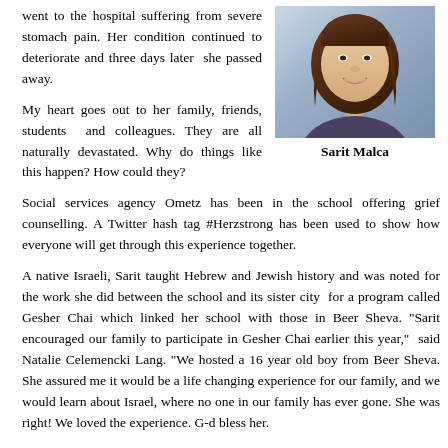went to the hospital suffering from severe stomach pain. Her condition continued to deteriorate and three days later she passed away.
[Figure (photo): Portrait photo of Sarit Malca, a woman with long brown hair, smiling, against a light background]
Sarit Malca
My heart goes out to her family, friends, students and colleagues. They are all naturally devastated. Why do things like this happen? How could they?
Social services agency Ometz has been in the school offering grief counselling. A Twitter hash tag #Herzstrong has been used to show how everyone will get through this experience together.
A native Israeli, Sarit taught Hebrew and Jewish history and was noted for the work she did between the school and its sister city for a program called Gesher Chai which linked her school with those in Beer Sheva. "Sarit encouraged our family to participate in Gesher Chai earlier this year," said Natalie Celemencki Lang. "We hosted a 16 year old boy from Beer Sheva. She assured me it would be a life changing experience for our family, and we would learn about Israel, where no one in our family has ever gone. She was right! We loved the experience. G-d bless her.